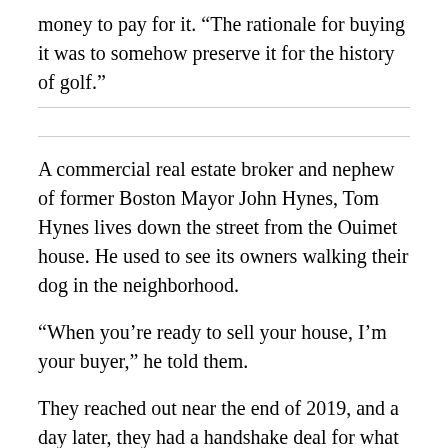money to pay for it. “The rationale for buying it was to somehow preserve it for the history of golf.”
A commercial real estate broker and nephew of former Boston Mayor John Hynes, Tom Hynes lives down the street from the Ouimet house. He used to see its owners walking their dog in the neighborhood.
“When you’re ready to sell your house, I’m your buyer,” he told them.
They reached out near the end of 2019, and a day later, they had a handshake deal for what property records say was a purchase price of $875,000. “And then I put an LLC together and went around with a tin cup to buy it,” Hynes said.
But the...